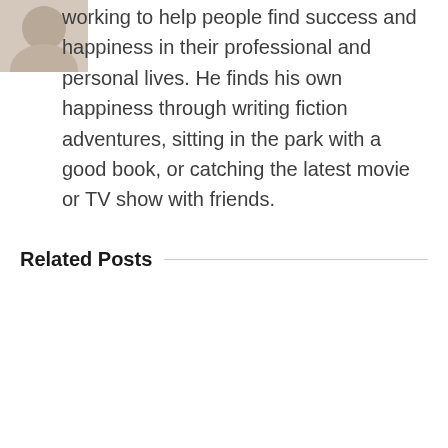[Figure (photo): Partial avatar/profile photo visible in top-left corner]
working to help people find success and happiness in their professional and personal lives. He finds his own happiness through writing fiction adventures, sitting in the park with a good book, or catching the latest movie or TV show with friends.
Related Posts